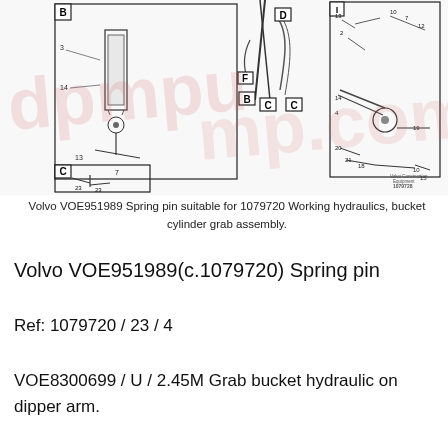[Figure (engineering-diagram): Technical exploded/assembly diagram of Volvo working hydraulics bucket cylinder grab assembly (part 1079720). Shows three sub-diagram views labeled B, C, D, F with numbered parts including springs, pins, cylinders, and linkages. Small text in bottom right reads 'Volvo Construction Equipment' and '1079728'.]
Volvo VOE951989 Spring pin suitable for 1079720 Working hydraulics, bucket cylinder grab assembly.
Volvo VOE951989(c.1079720) Spring pin
Ref: 1079720 / 23 / 4
VOE8300699 / U / 2.45M Grab bucket hydraulic on dipper arm.